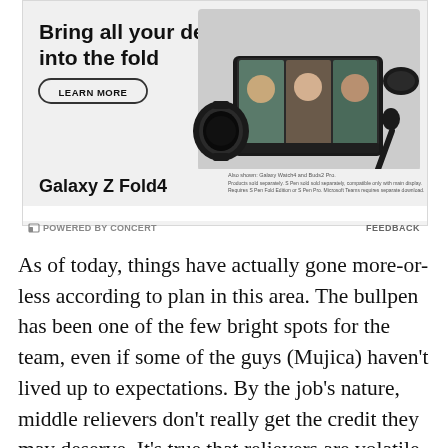[Figure (illustration): Samsung Galaxy Z Fold4 advertisement. Headline reads 'Bring all your devices into the fold' with a 'LEARN MORE' button. Shows a foldable phone with video call on screen, a Galaxy Watch, Galaxy Buds Pro earbuds, and S Pen. Text at bottom reads 'Galaxy Z Fold4'. Small disclaimer text mentions Galaxy Watch4 and Buds2 Pro.]
POWERED BY CONCERT   FEEDBACK
As of today, things have actually gone more-or-less according to plan in this area. The bullpen has been one of the few bright spots for the team, even if some of the guys (Mujica) haven't lived up to expectations. By the job's nature, middle relievers don't really get the credit they may deserve. It's true that relievers are volatile and middle relievers don't face the highest leverage situations, but they are still often big contributors to a team's success. The Red Sox have